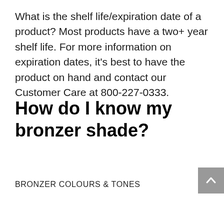What is the shelf life/expiration date of a product? Most products have a two+ year shelf life. For more information on expiration dates, it's best to have the product on hand and contact our Customer Care at 800-227-0333.
How do I know my bronzer shade?
BRONZER COLOURS & TONES